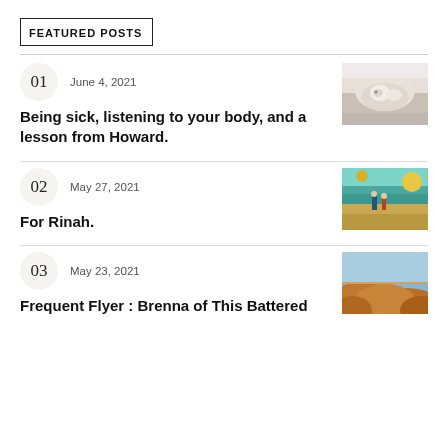FEATURED POSTS
01  June 4, 2021
Being sick, listening to your body, and a lesson from Howard.
[Figure (photo): White fluffy dog sleeping on white bedding]
02  May 27, 2021
For Rinah.
[Figure (photo): Colorful illustrated mural with figures and teal/blue stripes, desert scene]
03  May 23, 2021
Frequent Flyer : Brenna of This Battered Suitcase